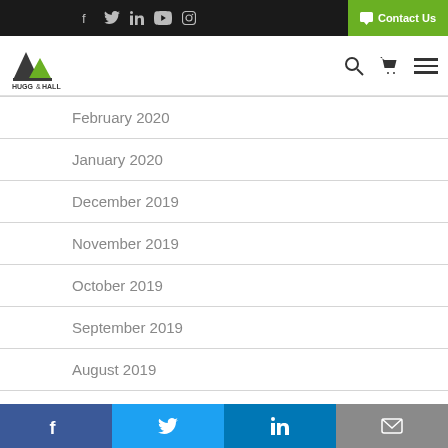Hugg & Hall website header with social icons and Contact Us button
February 2020
January 2020
December 2019
November 2019
October 2019
September 2019
August 2019
July 2019
June 2019
May 2019
April 2019
Social share buttons: Facebook, Twitter, LinkedIn, Email